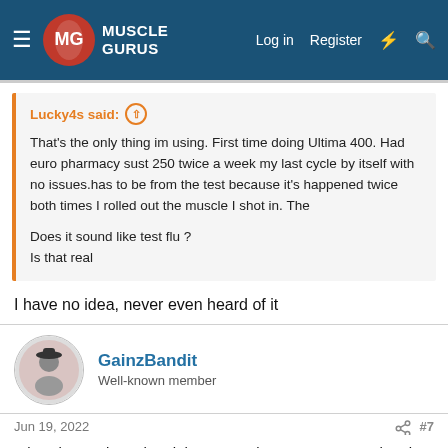Muscle Gurus — Log in | Register
Lucky4s said: That's the only thing im using. First time doing Ultima 400. Had euro pharmacy sust 250 twice a week my last cycle by itself with no issues.has to be from the test because it's happened twice both times I rolled out the muscle I shot in. The

Does it sound like test flu ?
Is that real
I have no idea, never even heard of it
GainzBandit
Well-known member
Jun 19, 2022  #7
I don't know about the night sweats, but I can attest to the pip. Twice I had it really bad from test e.